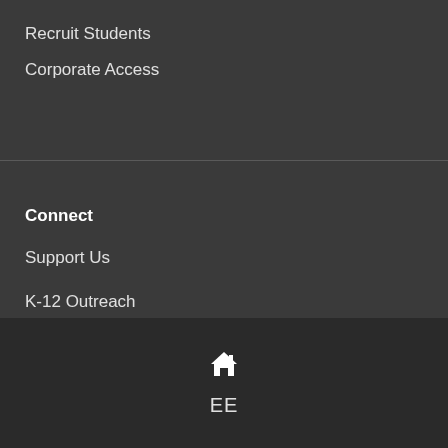Recruit Students
Corporate Access
Connect
Support Us
K-12 Outreach
Faculty Positions
Contact
[Figure (illustration): Home icon (house symbol) and 'EE' text label at the bottom of the page on a dark background]
EE